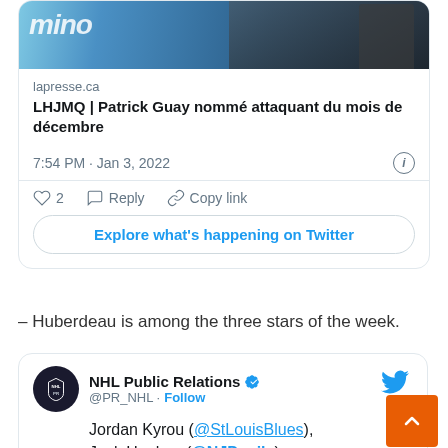[Figure (screenshot): Partial tweet embed card showing a lapresse.ca link with photo of hockey player and title 'LHJMQ | Patrick Guay nommé attaquant du mois de décembre']
lapresse.ca
LHJMQ | Patrick Guay nommé attaquant du mois de décembre
7:54 PM · Jan 3, 2022
2  Reply  Copy link
Explore what's happening on Twitter
– Huberdeau is among the three stars of the week.
[Figure (screenshot): Tweet from NHL Public Relations (@PR_NHL) with Follow button and Twitter bird icon, text beginning: Jordan Kyrou (@StLouisBlues), Jack Hughes (@NJDevils), Jonathan Huberdeau]
NHL Public Relations @PR_NHL · Follow
Jordan Kyrou (@StLouisBlues), Jack Hughes (@NJDevils), Jonathan Huberdeau